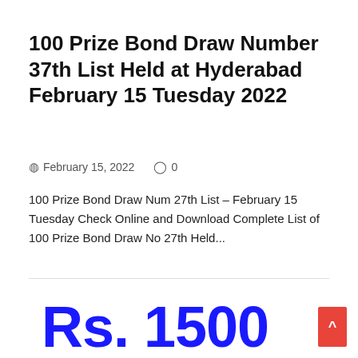100 Prize Bond Draw Number 37th List Held at Hyderabad February 15 Tuesday 2022
February 15, 2022   0
100 Prize Bond Draw Num 27th List – February 15 Tuesday Check Online and Download Complete List of 100 Prize Bond Draw No 27th Held...
Rs. 1500